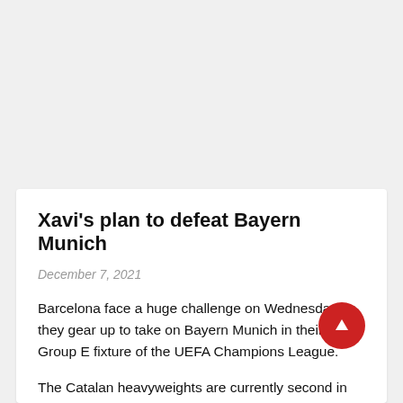Xavi's plan to defeat Bayern Munich
December 7, 2021
Barcelona face a huge challenge on Wednesday as they gear up to take on Bayern Munich in their final Group E fixture of the UEFA Champions League.
The Catalan heavyweights are currently second in the group but need all three points to seal